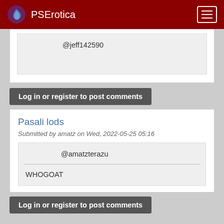PSErotica
@jeff142590
Log in or register to post comments
Pasali lods
Submitted by amatz on Wed, 2022-05-25 05:16
@amatzterazu
WHOGOAT
Log in or register to post comments